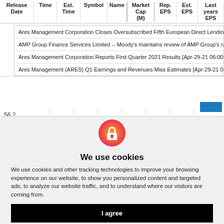| Release Date | Time | Est. Time | Symbol | Name | Market Cap (M) | Rep. EPS | Est. EPS | Last years EPS |
| --- | --- | --- | --- | --- | --- | --- | --- | --- |
|  |  |  |  | Ares Management Corporation Closes Oversubscribed Fifth European Direct Lending Fu... |  |  |  |  |
|  |  |  |  | AMP Group Finance Services Limited -- Moody's maintains review of AMP Group's ratings... |  |  |  |  |
|  |  |  |  | Ares Management Corporation Reports First Quarter 2021 Results [Apr-29-21 06:00AM] |  |  |  |  |
|  |  |  |  | Ares Management (ARES) Q1 Earnings and Revenues Miss Estimates [Apr-29-21 07:30A... |  |  |  |  |
[Figure (line-chart): Line chart showing a value near 56.2 with a blue horizontal line and a blue rectangle in upper right corner]
[Figure (screenshot): Cookie consent dialog overlay with lock icon, title 'We use cookies', descriptive text, 'I agree' button, and 'Change my preferences' button with settings icon]
We use cookies
We use cookies and other tracking technologies to improve your browsing experience on our website, to show you personalized content and targeted ads, to analyze our website traffic, and to understand where our visitors are coming from.
I agree
⚙ Change my preferences